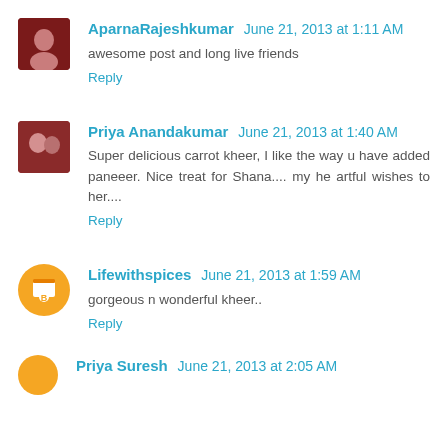AparnaRajeshkumar  June 21, 2013 at 1:11 AM
awesome post and long live friends
Reply
Priya Anandakumar  June 21, 2013 at 1:40 AM
Super delicious carrot kheer, I like the way u have added paneeer. Nice treat for Shana.... my he artful wishes to her....
Reply
Lifewithspices  June 21, 2013 at 1:59 AM
gorgeous n wonderful kheer..
Reply
Priya Suresh  June 21, 2013 at 2:05 AM